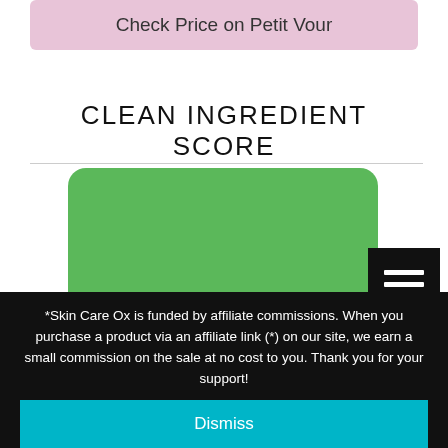Check Price on Petit Vour
CLEAN INGREDIENT SCORE
[Figure (infographic): Green rounded rectangle card with a white trapezoidal shape at the bottom, representing a clean ingredient score visual/gauge. A black hamburger menu icon overlaps the right side.]
*Skin Care Ox is funded by affiliate commissions. When you purchase a product via an affiliate link (*) on our site, we earn a small commission on the sale at no cost to you. Thank you for your support!
Dismiss